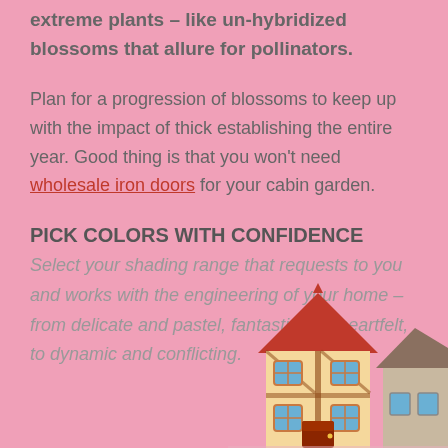extreme plants – like un-hybridized blossoms that allure for pollinators.
Plan for a progression of blossoms to keep up with the impact of thick establishing the entire year. Good thing is that you won't need wholesale iron doors for your cabin garden.
PICK COLORS WITH CONFIDENCE
Select your shading range that requests to you and works with the engineering of your home – from delicate and pastel, fantastic and heartfelt, to dynamic and conflicting.
[Figure (illustration): Cartoon illustration of a tall orange and beige Tudor-style house with a red roof, and a partial view of another building to the right, positioned at the bottom-right corner of the page.]